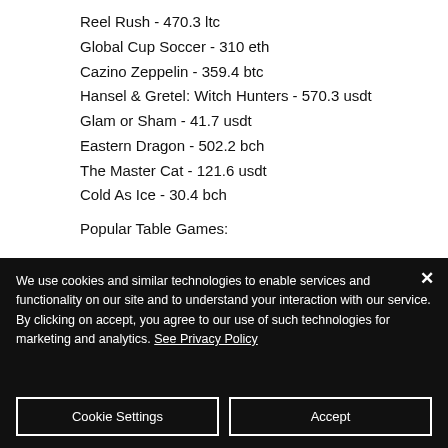Reel Rush - 470.3 ltc
Global Cup Soccer - 310 eth
Cazino Zeppelin - 359.4 btc
Hansel & Gretel: Witch Hunters - 570.3 usdt
Glam or Sham - 41.7 usdt
Eastern Dragon - 502.2 bch
The Master Cat - 121.6 usdt
Cold As Ice - 30.4 bch
Popular Table Games:
We use cookies and similar technologies to enable services and functionality on our site and to understand your interaction with our service. By clicking on accept, you agree to our use of such technologies for marketing and analytics. See Privacy Policy
Cookie Settings
Accept